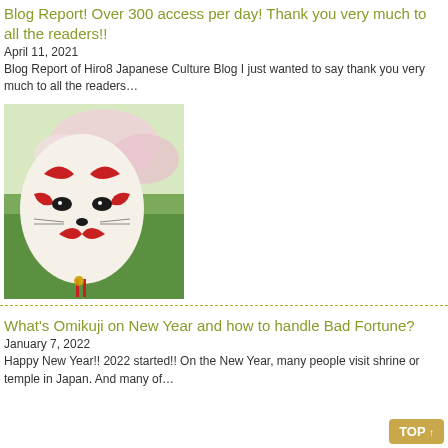Blog Report! Over 300 access per day! Thank you very much to all the readers!!
April 11, 2021
Blog Report of Hiro8 Japanese Culture Blog I just wanted to say thank you very much to all the readers…
[Figure (photo): A person holding a Japanese fox mask (kitsune mask) with red and white paint, in front of a garden with cherry blossoms]
What's Omikuji on New Year and how to handle Bad Fortune?
January 7, 2022
Happy New Year!! 2022 started!! On the New Year, many people visit shrine or temple in Japan. And many of…